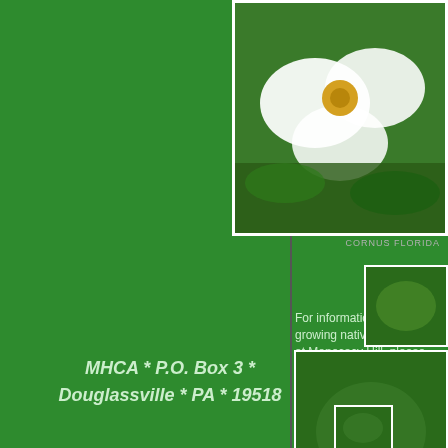Edge of the Woods Nursery
Bowman's Hill Wildflower Preserve
[Figure (photo): Close-up photo of white dogwood flower (Cornus florida) with green foliage background]
CORNUS FLORIDA
For information about growing native plants found at Monocacy Hill, please feel free to via email at info@monocacyhill.org.
MHCA * P.O. Box 3 * Douglassville * PA * 19518
[Figure (photo): Small photo thumbnail 1]
[Figure (photo): Small photo thumbnail 2]
[Figure (photo): Small photo thumbnail 3]